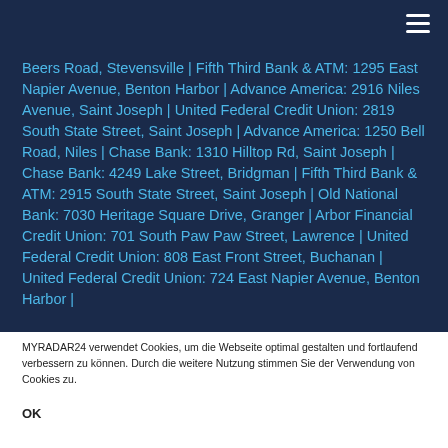hamburger menu icon
Beers Road, Stevensville | Fifth Third Bank & ATM: 1295 East Napier Avenue, Benton Harbor | Advance America: 2916 Niles Avenue, Saint Joseph | United Federal Credit Union: 2819 South State Street, Saint Joseph | Advance America: 1250 Bell Road, Niles | Chase Bank: 1310 Hilltop Rd, Saint Joseph | Chase Bank: 4249 Lake Street, Bridgman | Fifth Third Bank & ATM: 2915 South State Street, Saint Joseph | Old National Bank: 7030 Heritage Square Drive, Granger | Arbor Financial Credit Union: 701 South Paw Paw Street, Lawrence | United Federal Credit Union: 808 East Front Street, Buchanan | United Federal Credit Union: 724 East Napier Avenue, Benton Harbor |
MYRADAR24 verwendet Cookies, um die Webseite optimal gestalten und fortlaufend verbessern zu können. Durch die weitere Nutzung stimmen Sie der Verwendung von Cookies zu.
OK